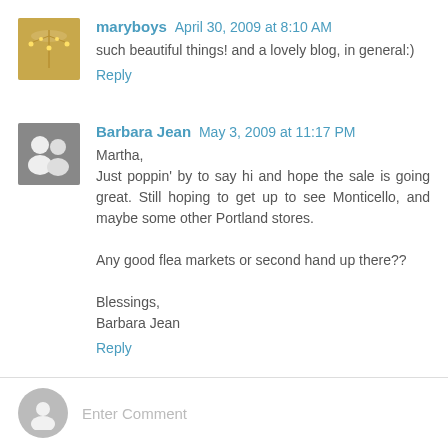maryboys April 30, 2009 at 8:10 AM
such beautiful things! and a lovely blog, in general:)
Reply
Barbara Jean May 3, 2009 at 11:17 PM
Martha,
Just poppin' by to say hi and hope the sale is going great. Still hoping to get up to see Monticello, and maybe some other Portland stores.

Any good flea markets or second hand up there??

Blessings,
Barbara Jean
Reply
Enter Comment